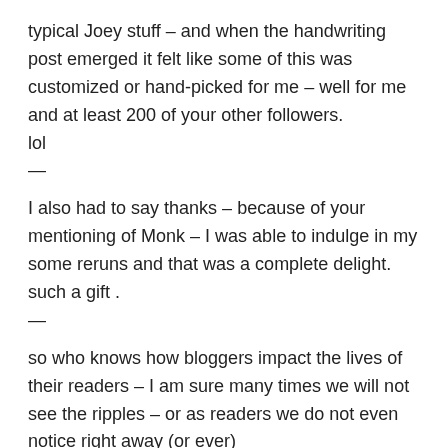typical Joey stuff – and when the handwriting post emerged it felt like some of this was customized or hand-picked for me – well for me and at least 200 of your other followers.
lol
—
I also had to say thanks – because of your mentioning of Monk – I was able to indulge in my some reruns and that was a complete delight.
such a gift .
—
so who knows how bloggers impact the lives of their readers – I am sure many times we will not see the ripples – or as readers we do not even notice right away (or ever)
but other times we notice and so with your